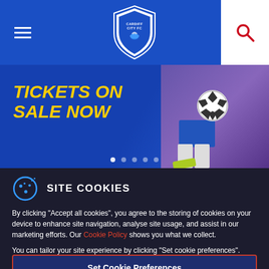Cardiff City FC website header with hamburger menu, club crest logo, and search icon
[Figure (photo): Cardiff City FC promotional banner showing 'TICKETS ON SALE NOW' text in yellow on blue background with a soccer player kicking a ball on the right side]
SITE COOKIES
By clicking "Accept all cookies", you agree to the storing of cookies on your device to enhance site navigation, analyse site usage, and assist in our marketing efforts. Our Cookie Policy shows you what we collect.

You can tailor your site experience by clicking "Set cookie preferences".
Accept all cookies
Set Cookie Preferences